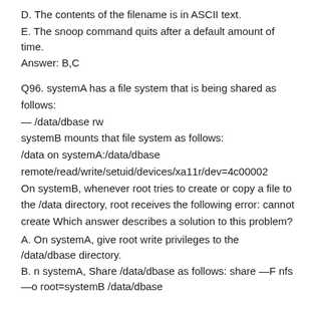D. The contents of the filename is in ASCII text.
E. The snoop command quits after a default amount of time.
Answer: B,C
Q96. systemA has a file system that is being shared as follows:
— /data/dbase rw
systemB mounts that file system as follows:
/data on systemA:/data/dbase remote/read/write/setuid/devices/xa11r/dev=4c00002
On systemB, whenever root tries to create or copy a file to the /data directory, root receives the following error: cannot create Which answer describes a solution to this problem?
A. On systemA, give root write privileges to the /data/dbase directory.
B. n systemA, Share /data/dbase as follows: share —F nfs —o root=systemB /data/dbase